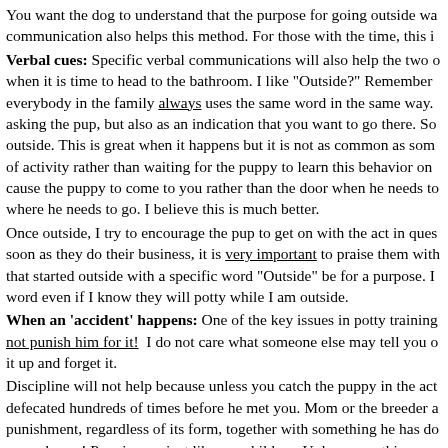You want the dog to understand that the purpose for going outside was communication also helps this method. For those with the time, this is Verbal cues: Specific verbal communications will also help the two of when it is time to head to the bathroom. I like "Outside?" Remember everybody in the family always uses the same word in the same way. asking the pup, but also as an indication that you want to go there. So outside. This is great when it happens but it is not as common as some of activity rather than waiting for the puppy to learn this behavior on cause the puppy to come to you rather than the door when he needs to where he needs to go. I believe this is much better. Once outside, I try to encourage the pup to get on with the act in question soon as they do their business, it is very important to praise them with that started outside with a specific word "Outside" be for a purpose. I word even if I know they will potty while I am outside. When an 'accident' happens: One of the key issues in potty training not punish him for it! I do not care what someone else may tell you about it up and forget it. Discipline will not help because unless you catch the puppy in the act, defecated hundreds of times before he met you. Mom or the breeder allowed punishment, regardless of its form, together with something he has done seconds ago! Puppies are just like our children. Unless something was thinking about what they did in the past. They are thinking about what very poor. Let's face it. It was your fault, not the pups. If you had been watching circles with his nose down smelling for the perfect spot to go to the b